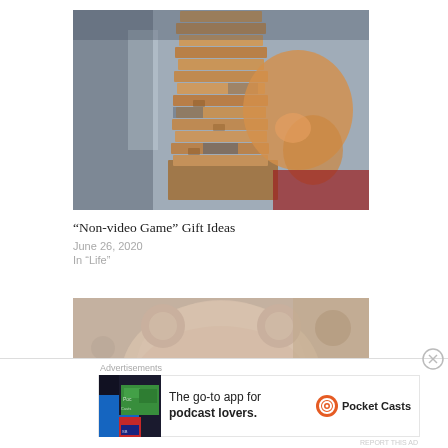[Figure (photo): Child playing with Jenga wooden block tower, smiling behind the stacked blocks]
“Non-video Game” Gift Ideas
June 26, 2020
In “Life”
[Figure (photo): Teddy bear stuffed animal close-up photo]
Advertisements
[Figure (other): Pocket Casts advertisement: The go-to app for podcast lovers.]